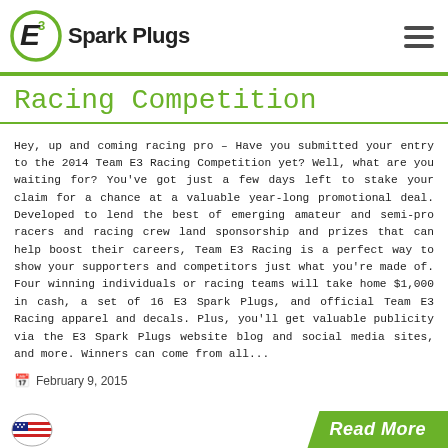E3 Spark Plugs
Racing Competition
Hey, up and coming racing pro – Have you submitted your entry to the 2014 Team E3 Racing Competition yet? Well, what are you waiting for? You've got just a few days left to stake your claim for a chance at a valuable year-long promotional deal. Developed to lend the best of emerging amateur and semi-pro racers and racing crew land sponsorship and prizes that can help boost their careers, Team E3 Racing is a perfect way to show your supporters and competitors just what you're made of. Four winning individuals or racing teams will take home $1,000 in cash, a set of 16 E3 Spark Plugs, and official Team E3 Racing apparel and decals. Plus, you'll get valuable publicity via the E3 Spark Plugs website blog and social media sites, and more. Winners can come from all...
February 9, 2015
Read More